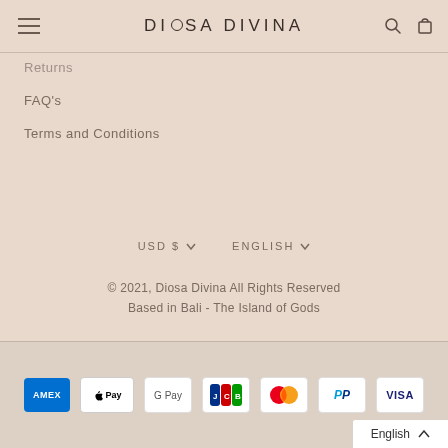DIOSA DIVINA
Returns
FAQ's
Terms and Conditions
USD $ ∨   ENGLISH ∨
© 2021, Diosa Divina All Rights Reserved
Based in Bali - The Island of Gods
[Figure (other): Payment method icons: American Express, Apple Pay, Google Pay, JCB, Mastercard, PayPal, Visa]
English ^